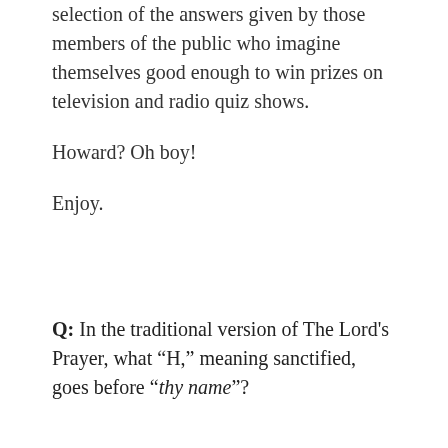Monday again and that means another selection of the answers given by those members of the public who imagine themselves good enough to win prizes on television and radio quiz shows.
Howard?  Oh boy!
Enjoy.
Q: In the traditional version of The Lord’s Prayer, what “H,” meaning sanctified, goes before “thy name”?
A: Haw...